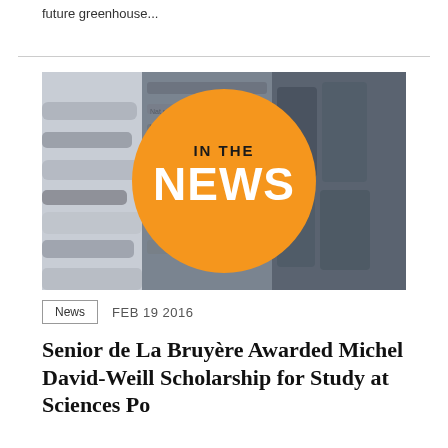future greenhouse...
[Figure (photo): Stacked newspapers in the background with a large orange circle overlay reading 'IN THE NEWS' in bold text]
News   FEB 19 2016
Senior de La Bruyère Awarded Michel David-Weill Scholarship for Study at Sciences Po